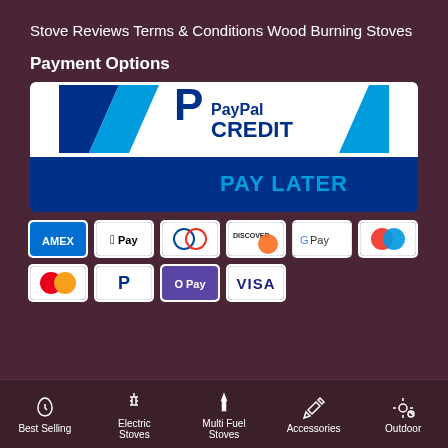Stove Reviews
Terms & Conditions
Wood Burning Stoves
Payment Options
[Figure (logo): PayPal Credit - Buy Now Pay Later banner with PayPal logo]
[Figure (infographic): Payment method icons: AMEX, Apple Pay, Diners Club, Discover, Google Pay, Maestro, Mastercard, PayPal, Samsung Pay, Visa]
Best Selling | Electric Stoves | Multi Fuel Stoves | Accessories | Outdoor